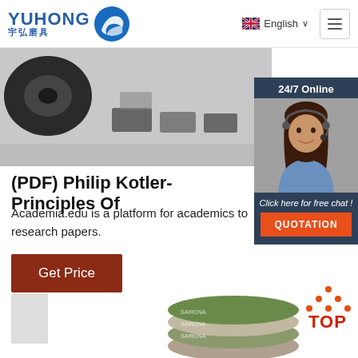[Figure (logo): YUHONG logo with blue wave icon, Chinese text 宇弘磨具]
English ∨
[Figure (photo): Product photo showing dark grinding/abrasive tools on gray background]
[Figure (photo): 24/7 Online chat widget with woman wearing headset, dark blue background, Click here for free chat!, QUOTATION button]
(PDF) Philip Kotler- Principles Of
Academia.edu is a platform for academics to research papers.
Get Price
[Figure (photo): Stacked grinding/abrasive wheels with green and gray pattern]
[Figure (logo): TOP badge with orange dots arranged in triangle and red TOP text]